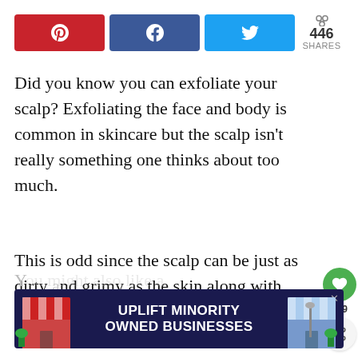[Figure (infographic): Social share buttons row: Pinterest (red), Facebook (dark blue), Twitter (light blue) buttons, plus share count showing 446 SHARES]
Did you know you can exfoliate your scalp? Exfoliating the face and body is common in skincare but the scalp isn't really something one thinks about too much.
This is odd since the scalp can be just as dirty and grimy as the skin along with flakiness and a general icky feeling.
[Figure (infographic): Side floating action buttons: green heart/like button, count 449, and a share button]
[Figure (infographic): Advertisement banner: UPLIFT MINORITY OWNED BUSINESSES with store illustrations on dark blue background, close X button]